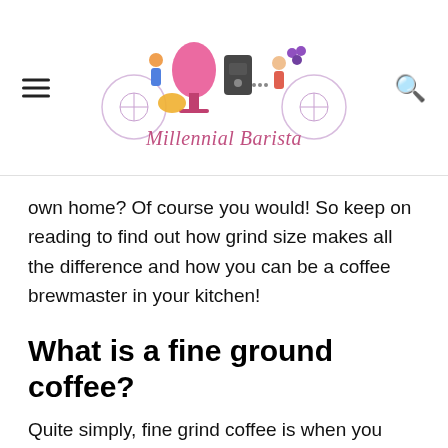[Figure (logo): Millennial Barista website header logo with colorful illustration of people at a coffee bar and decorative circular motifs, with italic text 'Millennial Barista' below]
own home? Of course you would! So keep on reading to find out how grind size makes all the difference and how you can be a coffee brewmaster in your kitchen!
What is a fine ground coffee?
Quite simply, fine grind coffee is when you grind up the beans very well so it has a smooth and powdery texture to it. All you need is good hot water and it will extract the